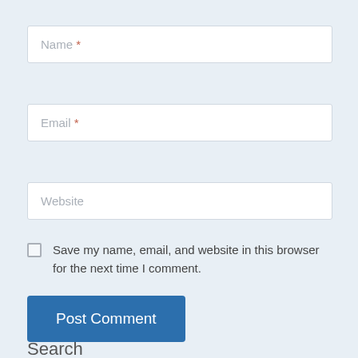Name *
Email *
Website
Save my name, email, and website in this browser for the next time I comment.
Post Comment
Search